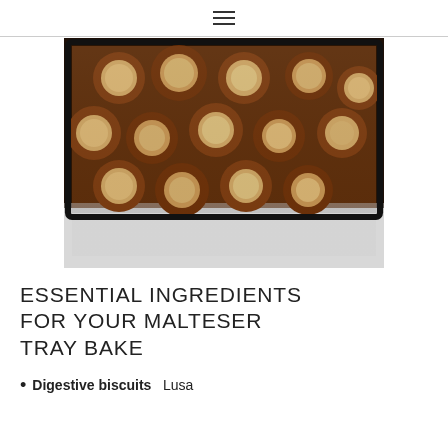☰
[Figure (photo): Overhead close-up photo of a Malteser tray bake in a dark baking tray, showing chocolate-coated round biscuits with pale honeycomb/malt centers facing upward, placed on a light marble surface.]
ESSENTIAL INGREDIENTS FOR YOUR MALTESER TRAY BAKE
Digestive biscuits  Lusa...